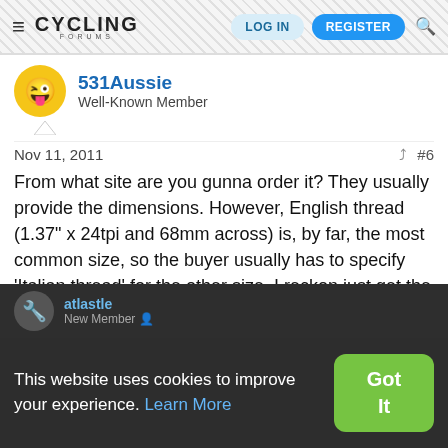Cycling Forums — LOG IN | REGISTER
531Aussie
Well-Known Member
Nov 11, 2011  #6
From what site are you gunna order it? They usually provide the dimensions. However, English thread (1.37" x 24tpi and 68mm across) is, by far, the most common size, so the buyer usually has to specify 'Italian thread' for the other size. I reckon just get the 122mm
This website uses cookies to improve your experience. Learn More